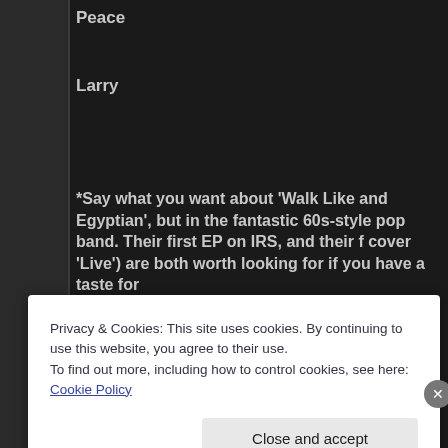Peace
Larry
*Say what you want about ‘Walk Like and Egyptian’, but in the fantastic 60s-style pop band. Their first EP on IRS, and their f cover ‘Live’) are both worth looking for if you have a taste for
**I have a VERY interesting cover of that song coming up very
PS Head over to Funky16Corners for some blue-eyed Norther
Privacy & Cookies: This site uses cookies. By continuing to use this website, you agree to their use.
To find out more, including how to control cookies, see here: Cookie Policy
Close and accept